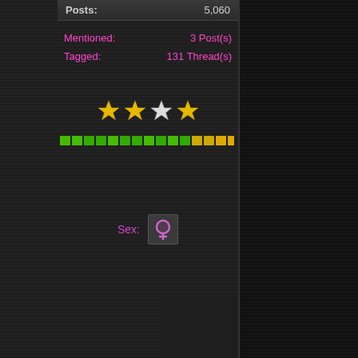Posts: 5,060
Mentioned: 3 Post(s)
Tagged: 131 Thread(s)
[Figure (other): Four stars rating: 2 gold filled stars, 1 white/empty star, 1 gold filled star]
[Figure (other): Reputation bar: colored green and yellow/orange small square blocks in a row]
[Figure (other): Female gender symbol icon in a dark grey square button]